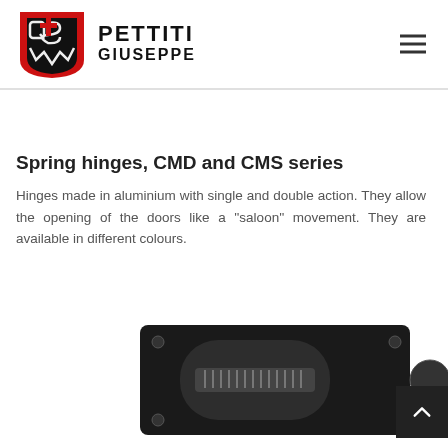[Figure (logo): Pettiti Giuseppe company logo — red and black shield-shaped icon with stylized letters, next to bold text PETTITI GIUSEPPE]
Spring hinges, CMD and CMS series
Hinges made in aluminium with single and double action. They allow the opening of the doors like a ''saloon'' movement. They are available in different colours.
[Figure (photo): Close-up photograph of a black aluminium spring hinge component (CMD or CMS series), showing the rectangular mounting plate and rounded spring mechanism]